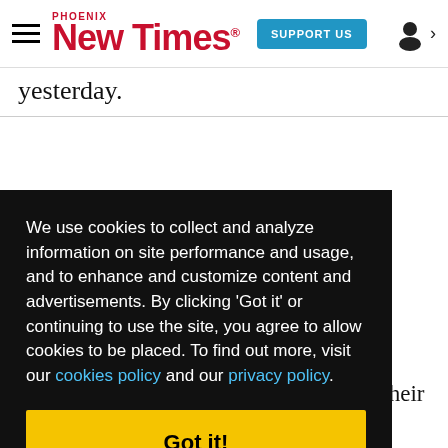Phoenix New Times — SUPPORT US — [user icon]
yesterday.
We use cookies to collect and analyze information on site performance and usage, and to enhance and customize content and advertisements. By clicking 'Got it' or continuing to use the site, you agree to allow cookies to be placed. To find out more, visit our cookies policy and our privacy policy.
Got it!
Arpaio, claiming ICE "refused" to take their two